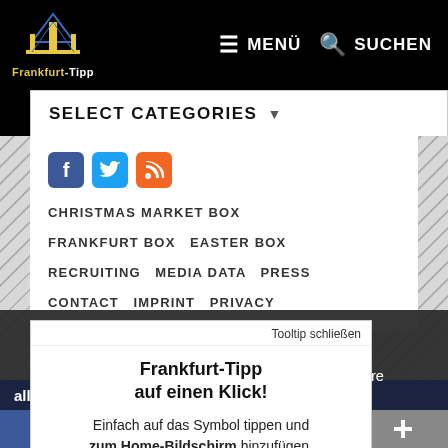Frankfurt-Tipp | MENÜ | SUCHEN
SELECT CATEGORIES
[Figure (screenshot): Social media icons: Facebook (blue), Twitter (blue bird), RSS (orange)]
CHRISTMAS MARKET BOX
FRANKFURT BOX  EASTER BOX
RECRUITING  MEDIA DATA  PRESS
CONTACT  IMPRINT  PRIVACY
We use cookies and other tracking technologies to personalize and improve your experience. By continuing to use our website you consent to this. More info
Partner-Tipps für Frankfurt & Umgebung
Tooltip schließen
Frankfurt-Tipp auf einen Klick!
Einfach auf das Symbol tippen und zum Home-Bildschirm hinzufügen.
all…